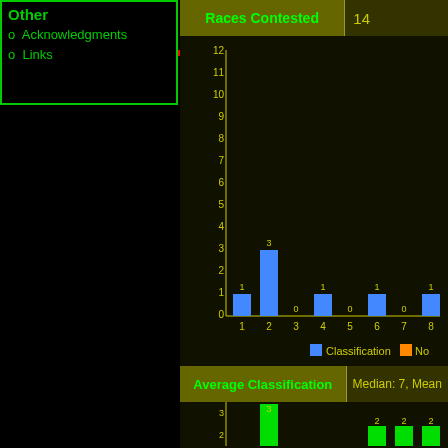Other
Acknowledgments
Links
| Races Contested | 14 |
| --- | --- |
[Figure (bar-chart): Classification distribution]
| Average Classification | Median: 7, Mean |
| --- | --- |
[Figure (bar-chart): Average Classification distribution]